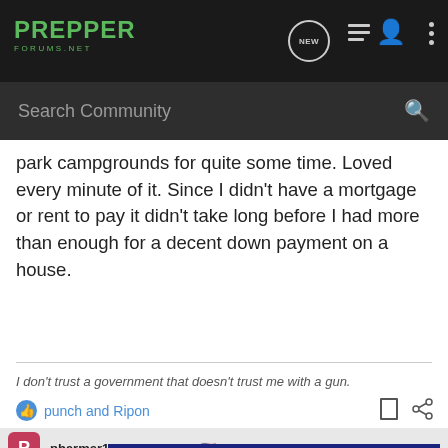PREPPER FORUMS.NET — header navigation with NEW chat, list view, profile, and menu icons, plus Search Community bar
park campgrounds for quite some time. Loved every minute of it. Since I didn't have a mortgage or rent to pay it didn't take long before I had more than enough for a decent down payment on a house.
I don't trust a government that doesn't trust me with a gun.
punch and Ripon
pharmer14 · Registered 🇺🇸